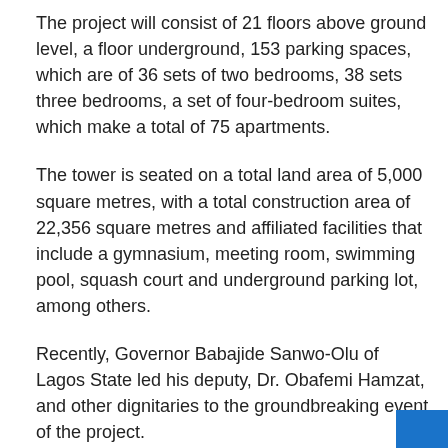The project will consist of 21 floors above ground level, a floor underground, 153 parking spaces, which are of 36 sets of two bedrooms, 38 sets three bedrooms, a set of four-bedroom suites, which make a total of 75 apartments.
The tower is seated on a total land area of 5,000 square metres, with a total construction area of 22,356 square metres and affiliated facilities that include a gymnasium, meeting room, swimming pool, squash court and underground parking lot, among others.
Recently, Governor Babajide Sanwo-Olu of Lagos State led his deputy, Dr. Obafemi Hamzat, and other dignitaries to the groundbreaking event of the project.
According to the governor, CCECC is a partner of Lagos State in development.